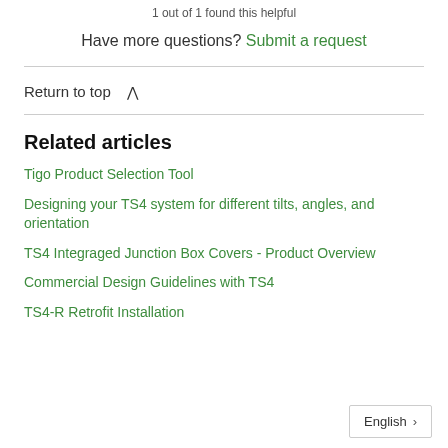1 out of 1 found this helpful
Have more questions? Submit a request
Return to top
Related articles
Tigo Product Selection Tool
Designing your TS4 system for different tilts, angles, and orientation
TS4 Integraged Junction Box Covers - Product Overview
Commercial Design Guidelines with TS4
TS4-R Retrofit Installation
English